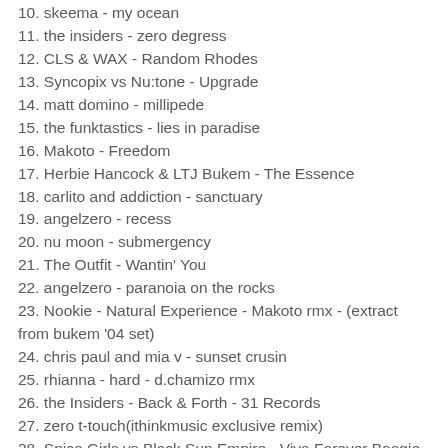10. skeema - my ocean
11. the insiders - zero degress
12. CLS & WAX - Random Rhodes
13. Syncopix vs Nu:tone - Upgrade
14. matt domino - millipede
15. the funktastics - lies in paradise
16. Makoto - Freedom
17. Herbie Hancock & LTJ Bukem - The Essence
18. carlito and addiction - sanctuary
19. angelzero - recess
20. nu moon - submergency
21. The Outfit - Wantin' You
22. angelzero - paranoia on the rocks
23. Nookie - Natural Experience - Makoto rmx - (extract from bukem '04 set)
24. chris paul and mia v - sunset crusin
25. rhianna - hard - d.chamizo rmx
26. the Insiders - Back & Forth - 31 Records
27. zero t-touch(ithinkmusic exclusive remix)
28. Spice Girls vs Black Sun Empire - Viva Forever Boogie Nights (dnb Bootleg)
29. Furney - pipez
30. Total Science - A Salve...